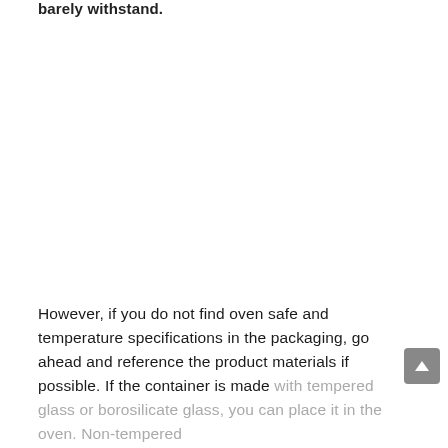barely withstand.
However, if you do not find oven safe and temperature specifications in the packaging, go ahead and reference the product materials if possible. If the container is made with tempered glass or borosilicate glass, you can place it in the oven. Non-tempered